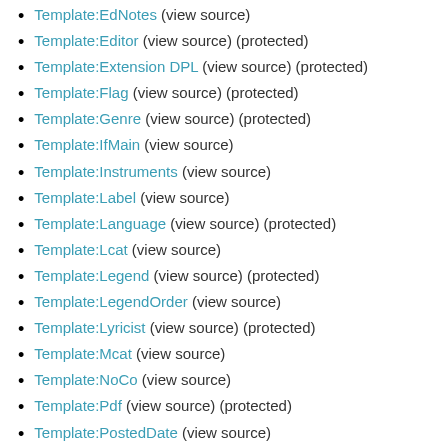Template:EdNotes (view source)
Template:Editor (view source) (protected)
Template:Extension DPL (view source) (protected)
Template:Flag (view source) (protected)
Template:Genre (view source) (protected)
Template:IfMain (view source)
Template:Instruments (view source)
Template:Label (view source)
Template:Language (view source) (protected)
Template:Lcat (view source)
Template:Legend (view source) (protected)
Template:LegendOrder (view source)
Template:Lyricist (view source) (protected)
Template:Mcat (view source)
Template:NoCo (view source)
Template:Pdf (view source) (protected)
Template:PostedDate (view source)